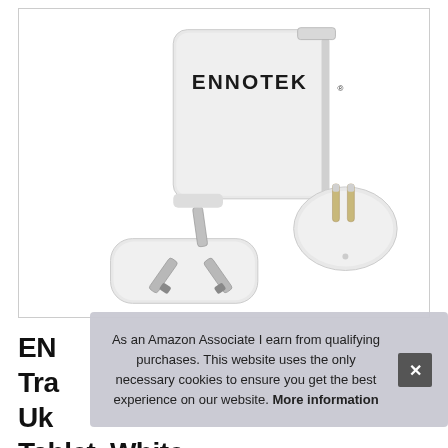[Figure (photo): Product photo of ENNOTEK travel charger with multiple plug adapters — main white cube charger body with ENNOTEK logo, UK three-pin plug adapter on the left, and European two-pin plug adapter on the right]
EN... Tra... Uk... Tablet, White
As an Amazon Associate I earn from qualifying purchases. This website uses the only necessary cookies to ensure you get the best experience on our website. More information